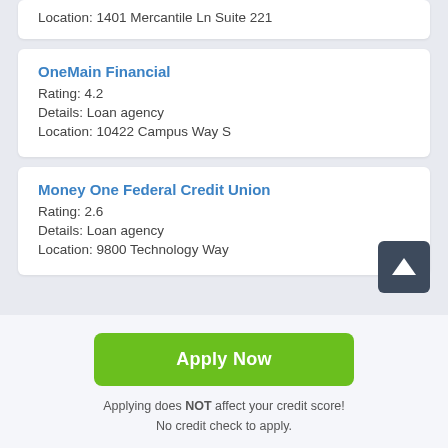Location: 1401 Mercantile Ln Suite 221
OneMain Financial
Rating: 4.2
Details: Loan agency
Location: 10422 Campus Way S
Money One Federal Credit Union
Rating: 2.6
Details: Loan agency
Location: 9800 Technology Way
Apply Now
Applying does NOT affect your credit score! No credit check to apply.